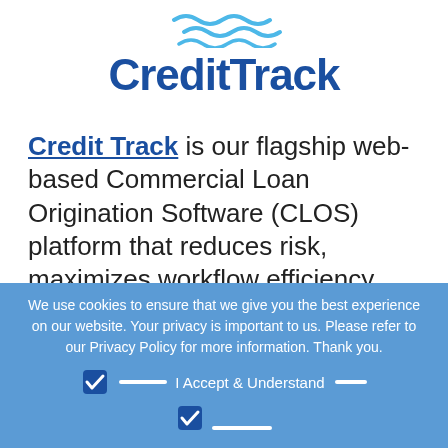[Figure (logo): CreditTrack logo with blue wave lines above bold dark blue text 'CreditTrack']
Credit Track is our flagship web-based Commercial Loan Origination Software (CLOS) platform that reduces risk, maximizes workflow efficiency, substantially decreases analysis and approval timelines and provides immediate ROI.
We use cookies to ensure that we give you the best experience on our website. Your privacy is important to us. Please refer to our Privacy Policy for more information. Thank you.
I Accept & Understand